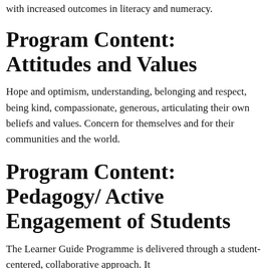with increased outcomes in literacy and numeracy.
Program Content: Attitudes and Values
Hope and optimism, understanding, belonging and respect, being kind, compassionate, generous, articulating their own beliefs and values. Concern for themselves and for their communities and the world.
Program Content: Pedagogy/ Active Engagement of Students
The Learner Guide Programme is delivered through a student-centered, collaborative approach. It